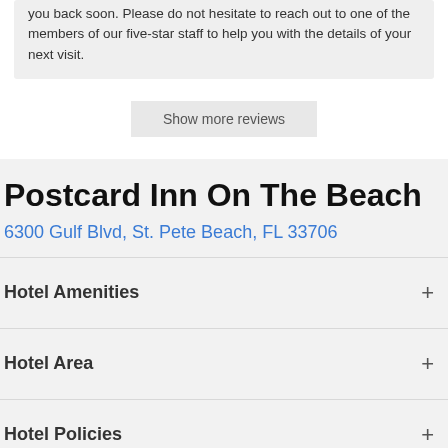you back soon. Please do not hesitate to reach out to one of the members of our five-star staff to help you with the details of your next visit.
Show more reviews
Postcard Inn On The Beach
6300 Gulf Blvd, St. Pete Beach, FL 33706
Hotel Amenities
Hotel Area
Hotel Policies